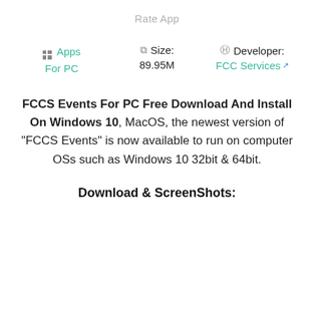Rate App
Apps For PC   Size: 89.95M   Developer: FCC Services
FCCS Events For PC Free Download And Install On Windows 10, MacOS, the newest version of "FCCS Events" is now available to run on computer OSs such as Windows 10 32bit & 64bit.
Download & ScreenShots: